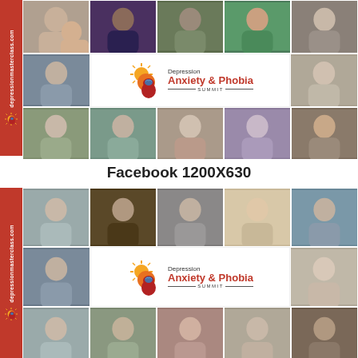[Figure (infographic): Depression Anxiety & Phobia Summit promotional banner (top) showing a red sidebar with depressionmasterclass.com text and logo, a 3-row grid of speaker headshots, and a central logo area with 'Depression Anxiety & Phobia SUMMIT' text.]
Facebook 1200X630
[Figure (infographic): Depression Anxiety & Phobia Summit promotional banner (bottom, Facebook 1200x630 version) showing a red sidebar with depressionmasterclass.com text and logo, a 3-row grid of speaker headshots, and a central logo area with 'Depression Anxiety & Phobia SUMMIT' text.]